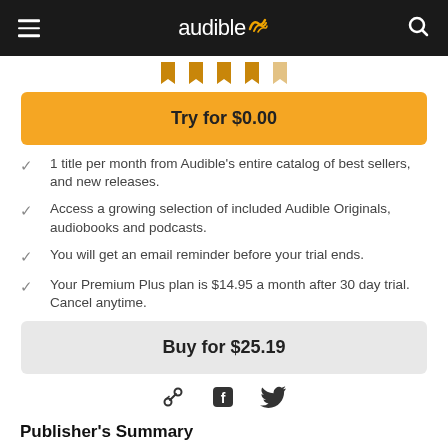audible
[Figure (illustration): Five bookmark/ribbon icons in gold, partially visible at top]
Try for $0.00
1 title per month from Audible's entire catalog of best sellers, and new releases.
Access a growing selection of included Audible Originals, audiobooks and podcasts.
You will get an email reminder before your trial ends.
Your Premium Plus plan is $14.95 a month after 30 day trial. Cancel anytime.
Buy for $25.19
[Figure (illustration): Share icons: link/chain, Facebook f, Twitter bird]
Publisher's Summary
MacKayla Lane's life is good. She has great friends, a decent job, and a car that breaks down only every other week or so. In other words,